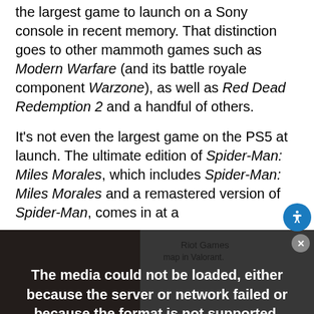the largest game to launch on a Sony console in recent memory. That distinction goes to other mammoth games such as Modern Warfare (and its battle royale component Warzone), as well as Red Dead Redemption 2 and a handful of others.
It's not even the largest game on the PS5 at launch. The ultimate edition of Spider-Man: Miles Morales, which includes Spider-Man: Miles Morales and a remastered version of Spider-Man, comes in at a
[Figure (screenshot): Media player overlay showing 'The media could not be loaded, either because the server or network failed or because the format is not supported.' with an orange X close button. Background shows a dark video thumbnail on the left and a gray Riot Games / Valorant map image on the right. An accessibility button (blue circle with person icon) is visible on the right side. Bottom shows a partial game image banner and orange 'FREE SITE HOSTING' text.]